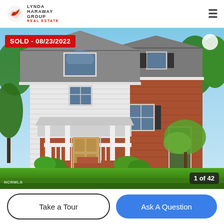[Figure (logo): Lynda Haraway Group Real Estate logo with red bird icon and text]
[Figure (photo): Exterior photo of a two-story brick and white siding house with large green lawn, trees in background, front porch with white railings and steps. Overlaid with SOLD - 08/23/2022 badge, heart icon, 1 of 42 counter, and NCRMLS watermark.]
SOLD - 08/23/2022
1 of 42
NCRMLS
Take a Tour
Ask A Question